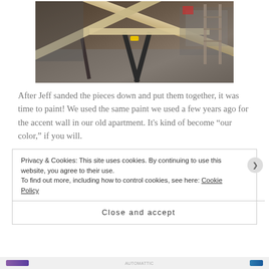[Figure (photo): Wooden planks/boards arranged in a crisscross pattern on a sawhorse in a garage or workshop setting]
After Jeff sanded the pieces down and put them together, it was time to paint!  We used the same paint we used a few years ago for the accent wall in our old apartment.  It's kind of become “our color,” if you will.
Privacy & Cookies: This site uses cookies. By continuing to use this website, you agree to their use.
To find out more, including how to control cookies, see here: Cookie Policy
Close and accept